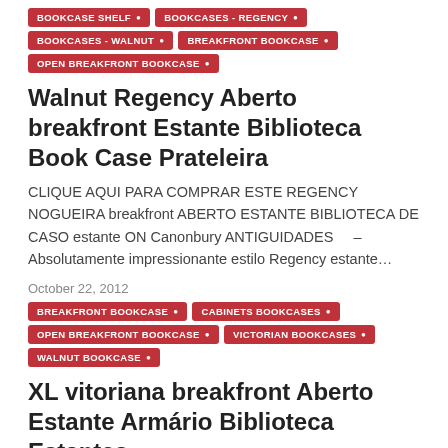BOOKCASE SHELF
BOOKCASES - REGENCY
BOOKCASES - WALNUT
BREAKFRONT BOOKCASE
OPEN BREAKFRONT BOOKCASE
Walnut Regency Aberto breakfront Estante Biblioteca Book Case Prateleira
CLIQUE AQUI PARA COMPRAR ESTE REGENCY NOGUEIRA breakfront ABERTO ESTANTE BIBLIOTECA DE CASO estante ON Canonbury ANTIGUIDADES    – Absolutamente impressionante estilo Regency estante…
October 22, 2012
BREAKFRONT BOOKCASE
CABINETS BOOKCASES
OPEN BREAKFRONT BOOKCASE
VICTORIAN BOOKCASES
WALNUT BOOKCASE
XL vitoriana breakfront Aberto Estante Armário Biblioteca Estantes
CLIQUE AQUI PARA COMPRAR ESTE XL breakfront VICTORIAN ABERTO ESTANTE ARMÁRIO BIBLIOTECA